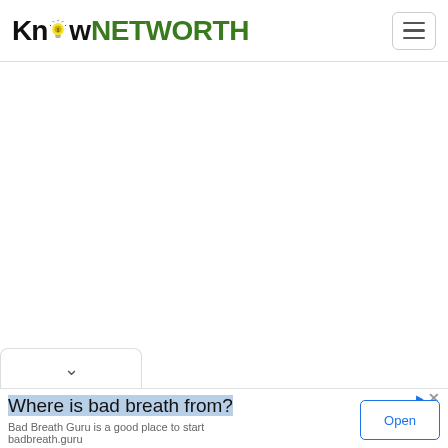Know NETWORTH
[Figure (screenshot): White blank main content area]
[Figure (other): Dropdown chevron tab at bottom of content area]
Where is bad breath from? Bad Breath Guru is a good place to start badbreath.guru